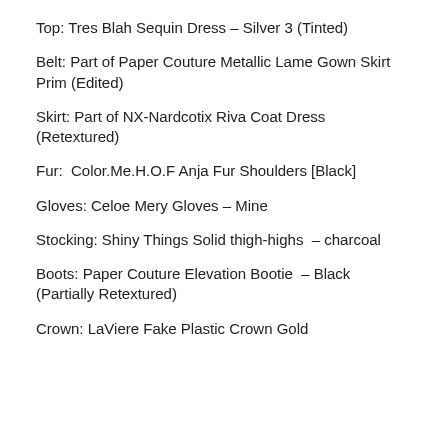Top: Tres Blah Sequin Dress – Silver 3 (Tinted)
Belt: Part of Paper Couture Metallic Lame Gown Skirt Prim (Edited)
Skirt: Part of NX-Nardcotix Riva Coat Dress (Retextured)
Fur:  Color.Me.H.O.F Anja Fur Shoulders [Black]
Gloves: Celoe Mery Gloves – Mine
Stocking: Shiny Things Solid thigh-highs  – charcoal
Boots: Paper Couture Elevation Bootie  – Black (Partially Retextured)
Crown: LaViere Fake Plastic Crown Gold